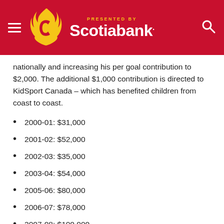Calgary Flames | Presented by Scotiabank
nationally and increasing his per goal contribution to $2,000. The additional $1,000 contribution is directed to KidSport Canada – which has benefited children from coast to coast.
2000-01: $31,000
2001-02: $52,000
2002-03: $35,000
2003-04: $54,000
2005-06: $80,000
2006-07: $78,000
2007-08: $100,000
2008-09: $20,000 and counting